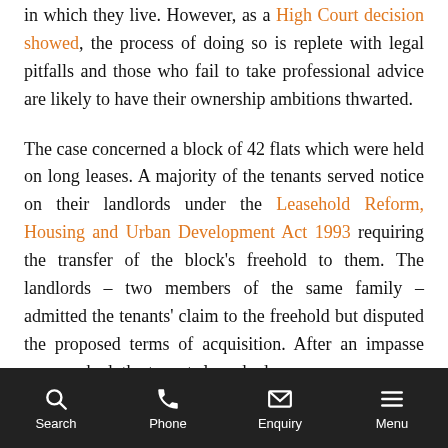in which they live. However, as a High Court decision showed, the process of doing so is replete with legal pitfalls and those who fail to take professional advice are likely to have their ownership ambitions thwarted.
The case concerned a block of 42 flats which were held on long leases. A majority of the tenants served notice on their landlords under the Leasehold Reform, Housing and Urban Development Act 1993 requiring the transfer of the block's freehold to them. The landlords – two members of the same family – admitted the tenants' claim to the freehold but disputed the proposed terms of acquisition. After an impasse was reached, the tenants launched
Search | Phone | Enquiry | Menu